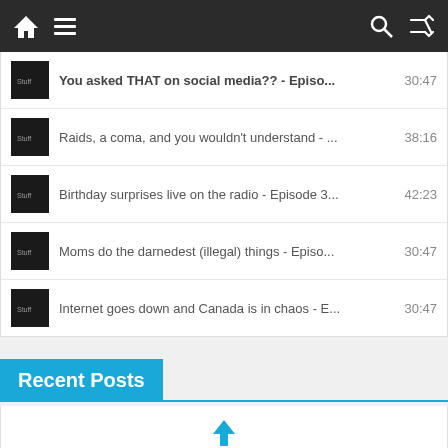Navigation bar with home, menu, search, shuffle icons
You asked THAT on social media?? - Episo... 30:47
Raids, a coma, and you wouldn't understand - ... 38:16
Birthday surprises live on the radio - Episode 3... 42:23
Moms do the darnedest (illegal) things - Episo... 30:47
Internet goes down and Canada is in chaos - E... 30:47
Recent Posts
[Figure (screenshot): Up arrow icon in blue]
Shopping and becoming... my mom?
August 21, 2022   No Comments
[Figure (photo): Person holding green shopping basket with groceries]